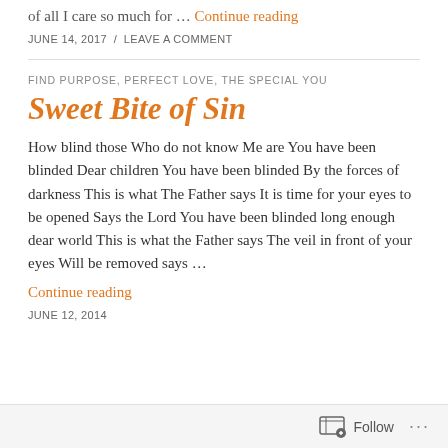of all I care so much for … Continue reading
JUNE 14, 2017 / LEAVE A COMMENT
FIND PURPOSE, PERFECT LOVE, THE SPECIAL YOU
Sweet Bite of Sin
How blind those Who do not know Me are You have been blinded Dear children You have been blinded By the forces of darkness This is what The Father says It is time for your eyes to be opened Says the Lord You have been blinded long enough dear world This is what the Father says The veil in front of your eyes Will be removed says … Continue reading
JUNE 12, 2014
Follow